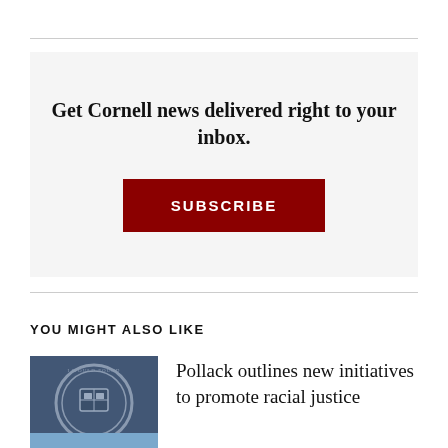Get Cornell news delivered right to your inbox.
SUBSCRIBE
YOU MIGHT ALSO LIKE
[Figure (photo): Cornell University seal/emblem medallion in silver/dark blue tones]
Pollack outlines new initiatives to promote racial justice